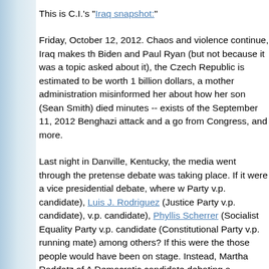This is C.I.'s "Iraq snapshot:"
Friday, October 12, 2012. Chaos and violence continue, Iraq makes th Biden and Paul Ryan (but not because it was a topic asked about it), the Czech Republic is estimated to be worth 1 billion dollars, a mother administration misinformed her about how her son (Sean Smith) died minutes -- exists of the September 11, 2012 Benghazi attack and a go from Congress, and more.
Last night in Danville, Kentucky, the media went through the pretense debate was taking place. If it were a vice presidential debate, where w Party v.p. candidate), Luis J. Rodriguez (Justice Party v.p. candidate), v.p. candidate), Phyllis Scherrer (Socialist Equality Party v.p. candidate (Constitutional Party v.p. running mate) among others? If this were the those people would have been on stage. Instead, Martha Raddatz of A Democratic candidate debating a Republican candidate. (Ava and I sh this morning.) Martha Raddatz was less than honest when she declare "sponsored by the Commission on Presidential Debates." It was spons large amounts of corporate money. This is not 'secret' information, it's website:
2012 National Sponsors